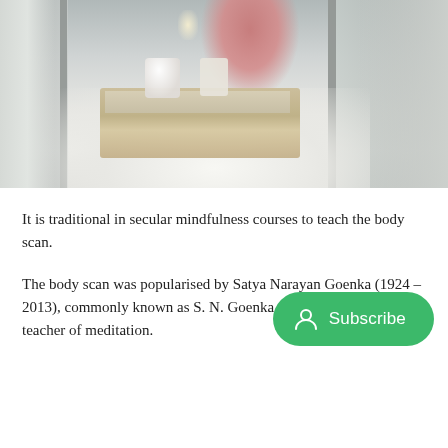[Figure (photo): A cozy indoor scene viewed through windows. A person in a red/pink top sits near books, a mug, and a candle placed on a tray over a fluffy white rug, with window frames visible on both sides.]
It is traditional in secular mindfulness courses to teach the body scan.
The body scan was popularised by Satya Narayan Goenka (1924 – 2013), commonly known as S. N. Goenka, a Burmese-Indian teacher of meditation.